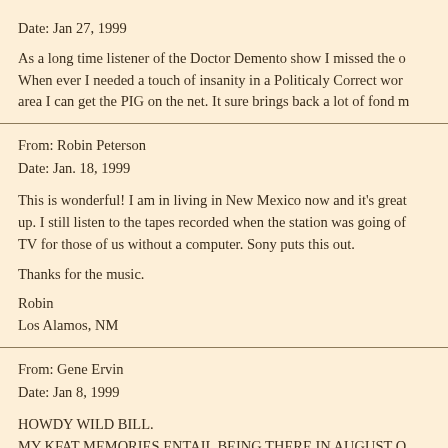Date: Jan 27, 1999
As a long time listener of the Doctor Demento show I missed the o... When ever I needed a touch of insanity in a Politicaly Correct worl... area I can get the PIG on the net. It sure brings back a lot of fond m...
From: Robin Peterson
Date: Jan. 18, 1999
This is wonderful! I am in living in New Mexico now and it's great... up. I still listen to the tapes recorded when the station was going of... TV for those of us without a computer. Sony puts this out.
Thanks for the music.
Robin
Los Alamos, NM
From: Gene Ervin
Date: Jan 8, 1999
HOWDY WILD BILL.
MY KFAT MEMORIES ENTAIL BEING THERE IN AUGUST O...
INVOLVED IN WORKING THE BOARD FOR HIM AS HE HA...